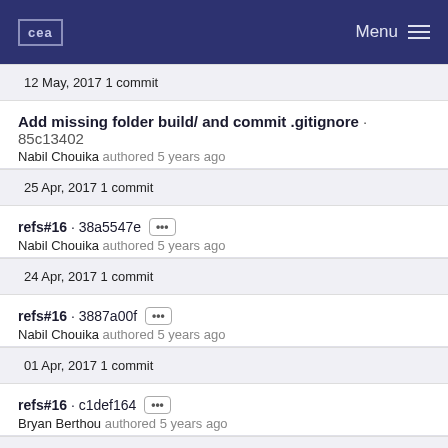cea | Menu
12 May, 2017 1 commit
Add missing folder build/ and commit .gitignore · 85c13402
Nabil Chouika authored 5 years ago
25 Apr, 2017 1 commit
refs#16 · 38a5547e ···
Nabil Chouika authored 5 years ago
24 Apr, 2017 1 commit
refs#16 · 3887a00f ···
Nabil Chouika authored 5 years ago
01 Apr, 2017 1 commit
refs#16 · c1def164 ···
Bryan Berthou authored 5 years ago
05 Dec, 2016 1 commit